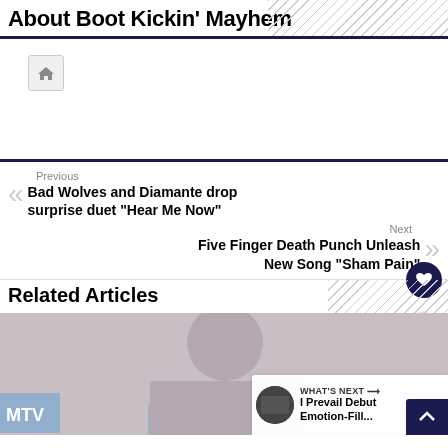About Boot Kickin' Mayhem
[Figure (screenshot): White content area with a small home icon button in top left area]
Previous
Bad Wolves and Diamante drop surprise duet "Hear Me Now"
Next
Five Finger Death Punch Unleash New Song "Sham Pain"
Related Articles
[Figure (photo): Photo of a blonde woman at MTV event. Overlay shows WHAT'S NEXT → I Prevail Debut Emotion-Fill...]